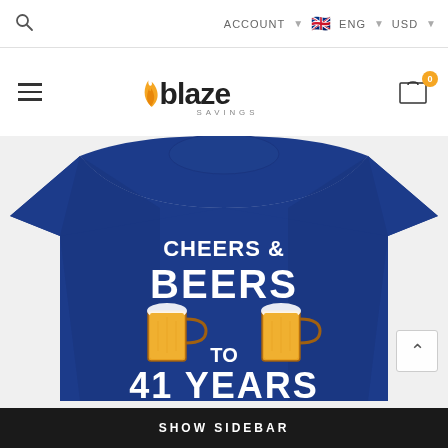ACCOUNT  ENG  USD
[Figure (logo): Blaze Savings logo with flame and bold text]
[Figure (photo): Blue t-shirt with 'CHEERS & BEERS TO 41 YEARS' graphic design featuring two beer mugs clinking]
SHOW SIDEBAR